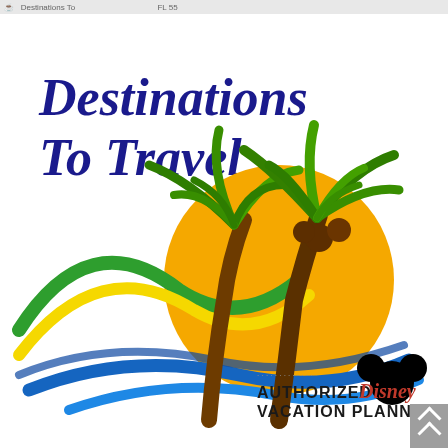[Figure (logo): Destinations To Travel logo featuring italic bold dark blue text 'Destinations To Travel', a tropical scene with two palm trees, an orange/yellow sun circle, colorful swooping wave lines in green, yellow, and blue, and an 'Authorized Disney Vacation Planner' badge with Mickey Mouse ears icon at bottom right.]